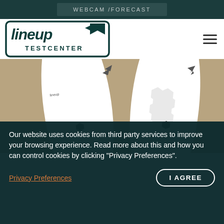WEBCAM /FORECAST
[Figure (logo): Lineup Testcenter logo — bold teal and dark green stylized text]
[Figure (photo): Two white surfboards (Midas model) lying on sand, viewed from above, with Lineup branding and star logo graphics]
Our website uses cookies from third party services to improve your browsing experience. Read more about this and how you can control cookies by clicking "Privacy Preferences".
Privacy Preferences
I AGREE